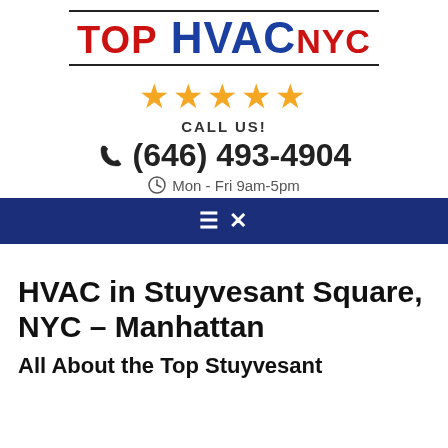[Figure (logo): Top HVAC NYC logo with red 'TOP', blue 'HVAC', red 'NYC' text between two horizontal rules]
[Figure (other): Five gold/orange star rating icons]
CALL US!
(646) 493-4904
Mon - Fri 9am-5pm
[Figure (other): Dark navy navigation bar with hamburger menu and X icon]
HVAC in Stuyvesant Square, NYC – Manhattan
All About the Top Stuyvesant